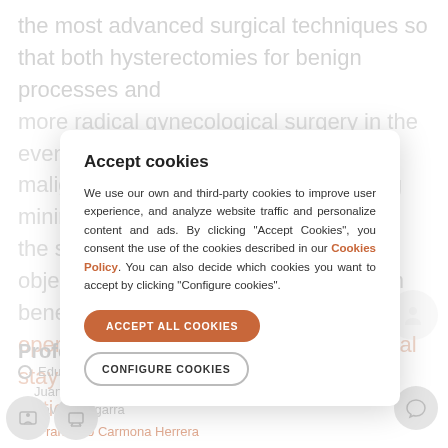the most advanced surgical techniques so that both hysterectomies for benign processes and more radical gynecological surgery in the event of malignant cases can be performed using minimally-invasive techniques, meeting the same objectives as conventional surgery, with benefits such as improved post-operative recovery and a shorter hospital stay for patients.
Professionals
Accept cookies
We use our own and third-party cookies to improve user experience, and analyze website traffic and personalize content and ads. By clicking "Accept Cookies", you consent the use of the cookies described in our Cookies Policy. You can also decide which cookies you want to accept by clicking "Configure cookies".
ACCEPT ALL COOKIES
CONFIGURE COOKIES
Eduardo Bataller Sanchez
Juan Garcia
Xavier Algarra
Francisco Carmona Herrera